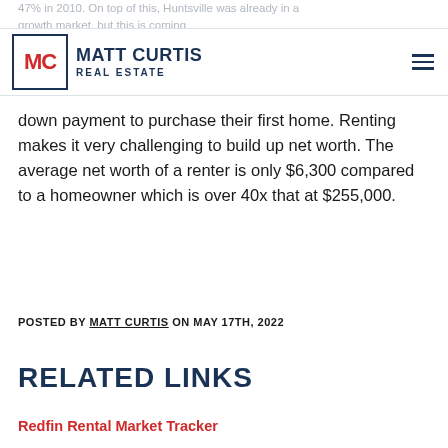47% in 2010. On top of this, Huntsville was already in a growth market, but this is coming at a real challenge because it's making it harder for renters to save up enough money for a down payment to purchase their first home. Renting makes it very challenging to build up net worth. The average net worth of a renter is only $6,300 compared to a homeowner which is over 40x that at $255,000.
MATT CURTIS REAL ESTATE
POSTED BY MATT CURTIS ON MAY 17TH, 2022
RELATED LINKS
Redfin Rental Market Tracker